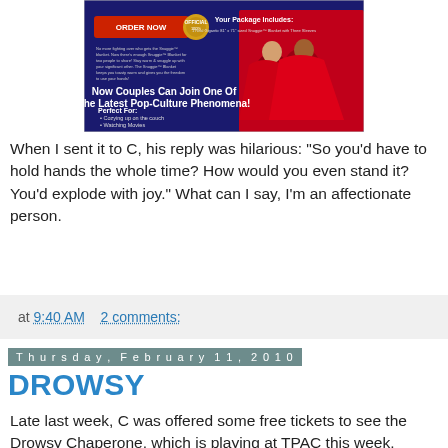[Figure (photo): Advertisement image for a couples Snuggie blanket product showing two people in red blankets. Text reads 'ORDER NOW', 'Your Package Includes:', 'Now Couples Can Join One Of The Latest Pop-Culture Phenomena!', 'Perfect For: Cozying up on the couch, Watching Movies, Sitting Outside Watching the stars']
When I sent it to C, his reply was hilarious: "So you'd have to hold hands the whole time? How would you even stand it? You'd explode with joy." What can I say, I'm an affectionate person.
at 9:40 AM    2 comments:
Thursday, February 11, 2010
DROWSY
Late last week, C was offered some free tickets to see the Drowsy Chaperone, which is playing at TPAC this week.